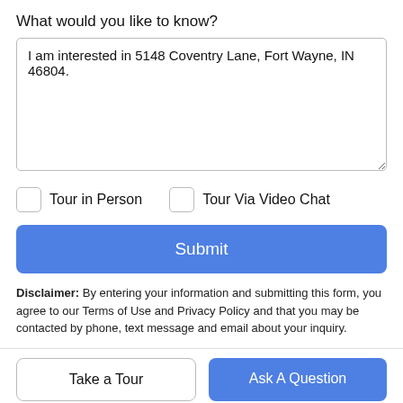What would you like to know?
I am interested in 5148 Coventry Lane, Fort Wayne, IN 46804.
Tour in Person
Tour Via Video Chat
Submit
Disclaimer: By entering your information and submitting this form, you agree to our Terms of Use and Privacy Policy and that you may be contacted by phone, text message and email about your inquiry.
Take a Tour
Ask A Question